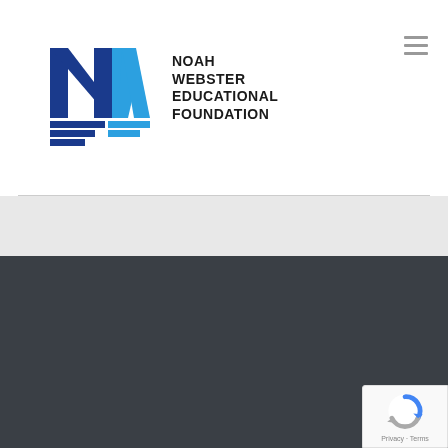[Figure (logo): Noah Webster Educational Foundation logo with NW monogram in blue and dark blue with horizontal stripe design]
NOAH WEBSTER EDUCATIONAL FOUNDATION
NOAH WEBSTER EDUCATION FOUNDATION
RECENT POSTS
Our mission is to help improve
> Adventuring on a Budget: Unique Yet